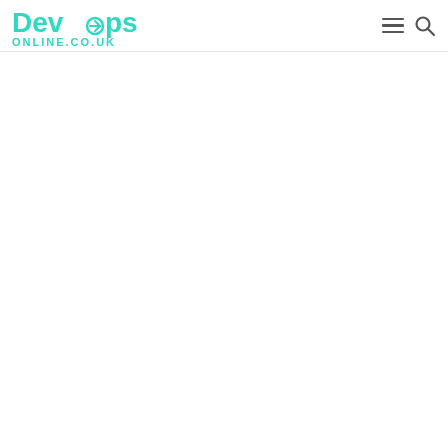DevOps ONLINE.CO.UK
[Figure (logo): DevOps Online UK logo with hamburger menu and search icons in the header navigation bar]